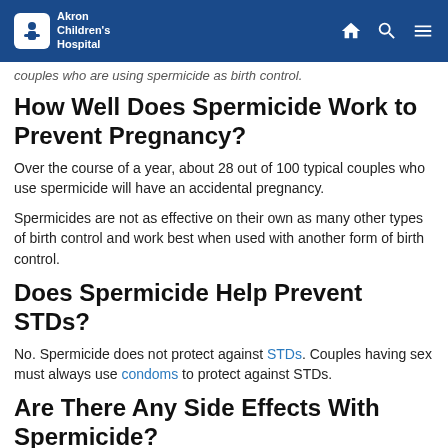Akron Children's Hospital
couples who are using spermicide as birth control.
How Well Does Spermicide Work to Prevent Pregnancy?
Over the course of a year, about 28 out of 100 typical couples who use spermicide will have an accidental pregnancy.
Spermicides are not as effective on their own as many other types of birth control and work best when used with another form of birth control.
Does Spermicide Help Prevent STDs?
No. Spermicide does not protect against STDs. Couples having sex must always use condoms to protect against STDs.
Are There Any Side Effects With Spermicide?